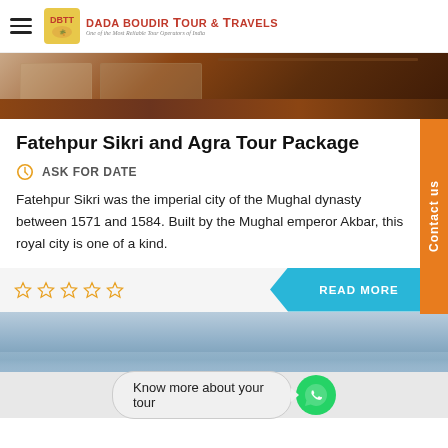DADA BOUDIR TOUR & TRAVELS
[Figure (photo): Close-up photo of stone/brick floor texture in warm brown and terracotta tones]
Fatehpur Sikri and Agra Tour Package
ASK FOR DATE
Fatehpur Sikri was the imperial city of the Mughal dynasty between 1571 and 1584. Built by the Mughal emperor Akbar, this royal city is one of a kind.
READ MORE
[Figure (photo): Photo of cloudy sky, partial view at bottom of page]
Know more about your tour